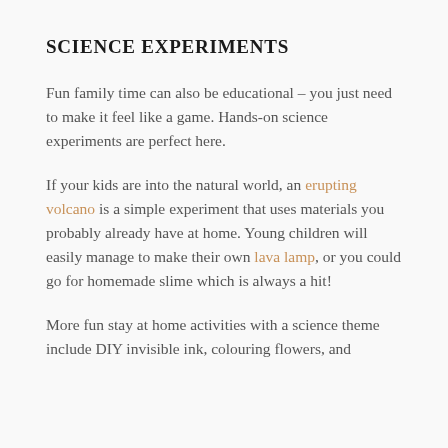SCIENCE EXPERIMENTS
Fun family time can also be educational – you just need to make it feel like a game. Hands-on science experiments are perfect here.
If your kids are into the natural world, an erupting volcano is a simple experiment that uses materials you probably already have at home. Young children will easily manage to make their own lava lamp, or you could go for homemade slime which is always a hit!
More fun stay at home activities with a science theme include DIY invisible ink, colouring flowers, and